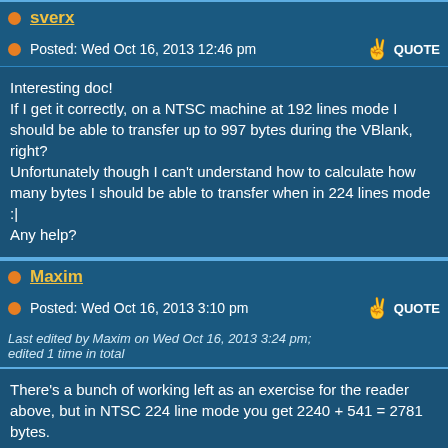sverx
Posted: Wed Oct 16, 2013 12:46 pm
Interesting doc!
If I get it correctly, on a NTSC machine at 192 lines mode I should be able to transfer up to 997 bytes during the VBlank, right?
Unfortunately though I can't understand how to calculate how many bytes I should be able to transfer when in 224 lines mode :|
Any help?
Maxim
Posted: Wed Oct 16, 2013 3:10 pm
Last edited by Maxim on Wed Oct 16, 2013 3:24 pm; edited 1 time in total
There's a bunch of working left as an exercise for the reader above, but in NTSC 224 line mode you get 2240 + 541 = 2781 bytes.
Calindro
Posted: Wed Oct 16, 2013 3:12 pm